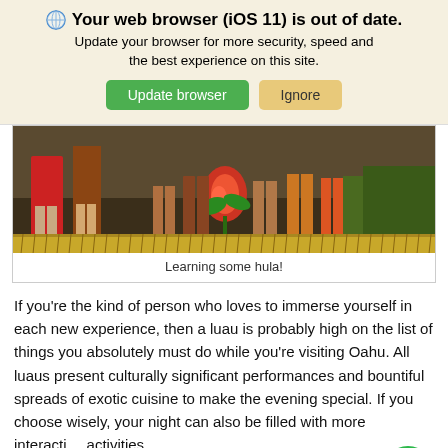🌐 Your web browser (iOS 11) is out of date. Update your browser for more security, speed and the best experience on this site.
Update browser | Ignore
[Figure (photo): Cropped photo showing people's legs on a stage decorated with tropical flowers and greenery, a hula performance scene]
Learning some hula!
If you're the kind of person who loves to immerse yourself in each new experience, then a luau is probably high on the list of things you absolutely must do while you're visiting Oahu. All luaus present culturally significant performances and bountiful spreads of exotic cuisine to make the evening special. If you choose wisely, your night can also be filled with more interactive activities.
People may look at these activities as merely a means of